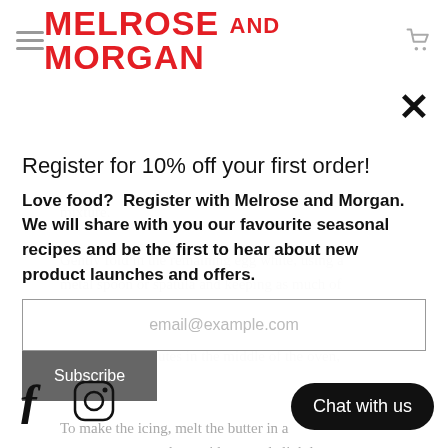MELROSE AND MORGAN
mixture.
Register for 10% off your first order!
Gently fold in the remaining egg white, using a metal spoon or spatula and keeping as much of the volume as you can.
Love food? Register with Melrose and Morgan. We will share with you our favourite seasonal recipes and be the first to hear about new product launches and offers.
Bake for 30 minutes in the middle of the oven,
email@example.com
To make the icing, melt the butter in a
Subscribe
d set aside to cool slightly.
Beat the coconut milk and icing sugar together until combined, then beat in the
pread evenly over the cake and
toasted coconut flakes.
Chat with us